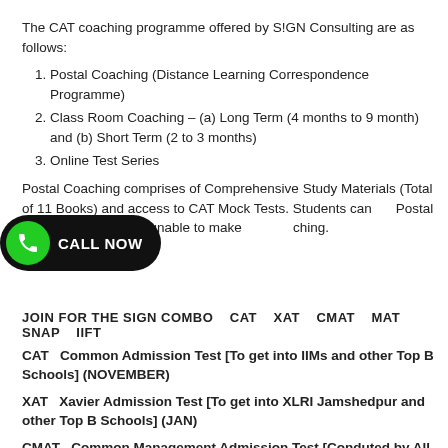The CAT coaching programme offered by S!GN Consulting are as follows:
1. Postal Coaching (Distance Learning Correspondence Programme)
2. Class Room Coaching – (a) Long Term (4 months to 9 month) and (b) Short Term (2 to 3 months)
3. Online Test Series
Postal Coaching comprises of Comprehensive Study Materials (Total of 11 Books) and access to CAT Mock Tests. Students can [benefit from] Postal Coaching, if they are unable to make [it to class room] coaching.
[Figure (other): CALL NOW button overlay with green phone icon on dark pill-shaped background]
JOIN FOR THE SIGN COMBO  CAT  XAT  CMAT  MAT  SNAP  IIFT
CAT  Common Admission Test [To get into IIMs and other Top B Schools] (NOVEMBER)
XAT  Xavier Admission Test [To get into XLRI Jamshedpur and other Top B Schools] (JAN)
CMAT  Common Management Admission Test [Conduted by All India Council for Technical Education – AICTE] (JAN)